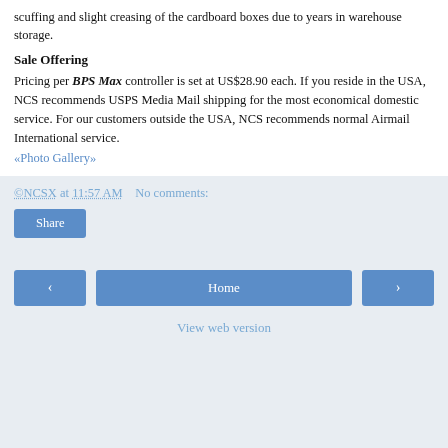scuffing and slight creasing of the cardboard boxes due to years in warehouse storage.
Sale Offering
Pricing per BPS Max controller is set at US$28.90 each. If you reside in the USA, NCS recommends USPS Media Mail shipping for the most economical domestic service. For our customers outside the USA, NCS recommends normal Airmail International service. «Photo Gallery»
©NCSX at 11:57 AM    No comments:
Share
‹    Home    ›
View web version